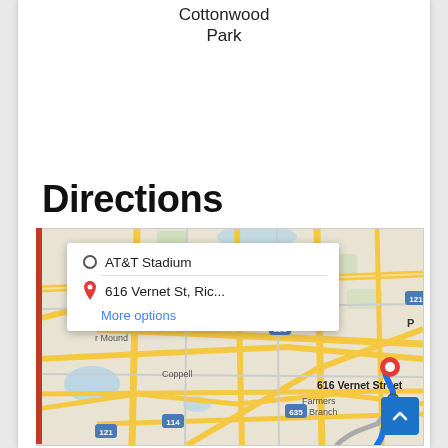Cottonwood Park
Directions
[Figure (map): Google Maps screenshot showing directions from AT&T Stadium to 616 Vernet Street, with a blue route line. Map shows Coppell, Farmers Branch area near Dallas, TX. A directions popup shows origin as AT&T Stadium and destination as 616 Vernet St, Ric... with a More options link.]